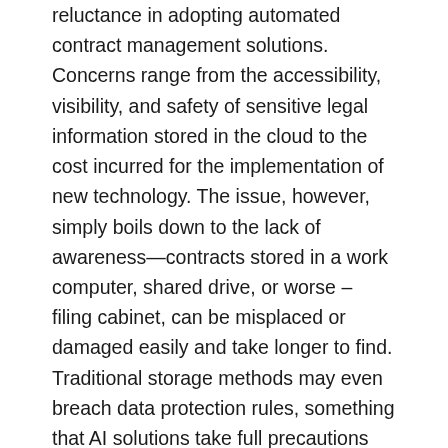reluctance in adopting automated contract management solutions. Concerns range from the accessibility, visibility, and safety of sensitive legal information stored in the cloud to the cost incurred for the implementation of new technology. The issue, however, simply boils down to the lack of awareness—contracts stored in a work computer, shared drive, or worse – filing cabinet, can be misplaced or damaged easily and take longer to find. Traditional storage methods may even breach data protection rules, something that AI solutions take full precautions against. Finally, unlike AI, manual processes are prone to human delay and error.
Contract management